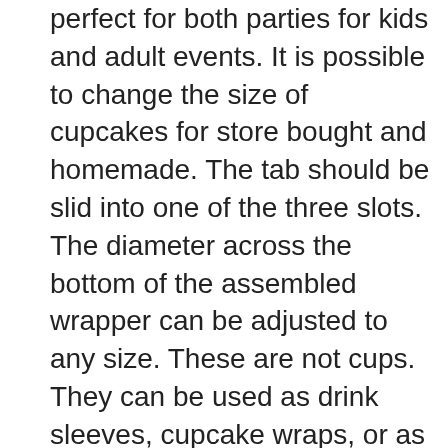perfect for both parties for kids and adult events. It is possible to change the size of cupcakes for store bought and homemade. The tab should be slid into one of the three slots. The diameter across the bottom of the assembled wrapper can be adjusted to any size. These are not cups. They can be used as drink sleeves, cupcake wraps, or as a collar on a cup to make gorgeous single serve treats. These make a great gambling groom's cake table. High quality heavy-weight paper is made in the U.S.A., and it helps your cupcake tower or dessert display look fresh and fabulous for hours. cupcakes look like masterpieces in seconds For a gambling themed adult event, use the playing card suits pattern alone, or use the poker chip striped side for almost any black and white party theme. For a retirement party or a Vegas New Year party, use both coordinating patterns. It's easy to cook cupcakes. These cupcake wraps are a quick and easy way to decorate cupcakes or other party foods. No need for colored frostings or elaborate cupcake toppers, simply skirt your cupcakes and make a stunning card or poker themed cupcake tower in minutes with ordinary cupcakes from your bakery or homemade. The fun card party theme paper cupcake wraps will add style to your table. A poker themed 30th birthday party with dress up